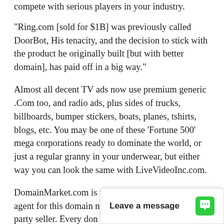compete with serious players in your industry.
"Ring.com [sold for $1B] was previously called DoorBot, His tenacity, and the decision to stick with the product he originally built [but with better domain], has paid off in a big way."
Almost all decent TV ads now use premium generic .Com too, and radio ads, plus sides of trucks, billboards, bumper stickers, boats, planes, tshirts, blogs, etc. You may be one of these 'Fortune 500' mega corporations ready to dominate the world, or just a regular granny in your underwear, but either way you can look the same with LiveVideoInc.com.
DomainMarket.com is the only authorized pricing agent for this domain name, anyone else is a third party seller. Every don completed by top wo
[Figure (other): Chat widget overlay at bottom right with 'Leave a message' text and green chat icon]